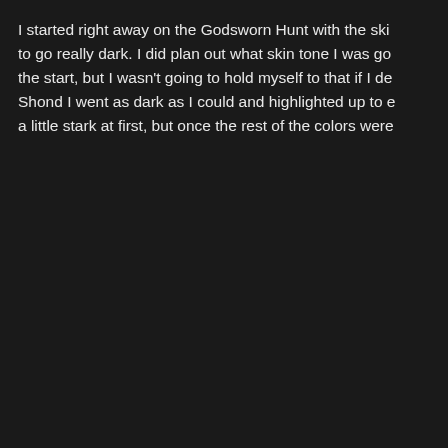I started right away on the Godsworn Hunt with the ski to go really dark. I did plan out what skin tone I was go the start, but I wasn't going to hold myself to that if I de Shond I went as dark as I could and highlighted up to e a little stark at first, but once the rest of the colors were
[Figure (photo): Mengel Miniatures tutorial page showing a Warhammer Age of Sigmar miniature (a dark-skinned warrior with black hair holding a bow), alongside a painting guide with steps including Basecoat, Wash with mixed medium, Edge highlight Brown, More refined Baneblade Brown and Screaming S...]